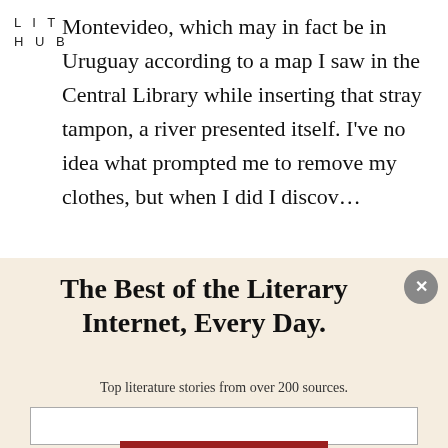LIT
HUB
Montevideo, which may in fact be in Uruguay according to a map I saw in the Central Library while inserting that stray tampon, a river presented itself. I've no idea what prompted me to remove my clothes, but when I did I discover...
The Best of the Literary Internet, Every Day.
Top literature stories from over 200 sources.